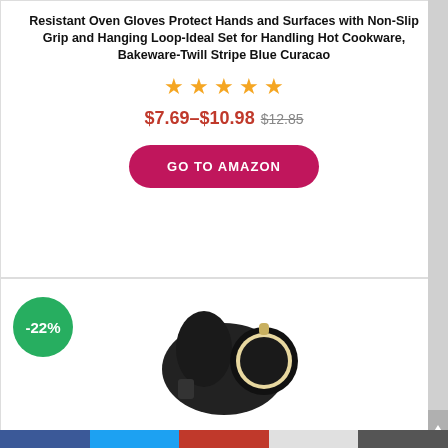Resistant Oven Gloves Protect Hands and Surfaces with Non-Slip Grip and Hanging Loop-Ideal Set for Handling Hot Cookware, Bakeware-Twill Stripe Blue Curacao
[Figure (other): Five orange star rating icons]
$7.69–$10.98 $12.85
GO TO AMAZON
[Figure (photo): Product image of oven mitt and round pot holder in dark/black color with -22% discount badge]
Honla Pot Holders and Oven Mitts/Gloves